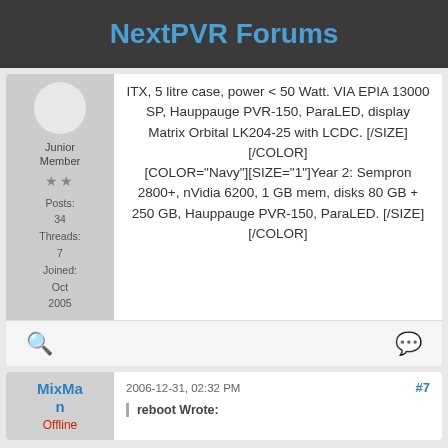NextPVR Forums
ITX, 5 litre case, power < 50 Watt. VIA EPIA 13000 SP, Hauppauge PVR-150, ParaLED, display Matrix Orbital LK204-25 with LCDC. [/SIZE][/COLOR] [COLOR="Navy"][SIZE="1"]Year 2: Sempron 2800+, nVidia 6200, 1 GB mem, disks 80 GB + 250 GB, Hauppauge PVR-150, ParaLED. [/SIZE][/COLOR]
Junior Member
★★
Posts: 34
Threads: 7
Joined: Oct 2005
MixMan
Offline
2006-12-31, 02:32 PM  #7
reboot Wrote: